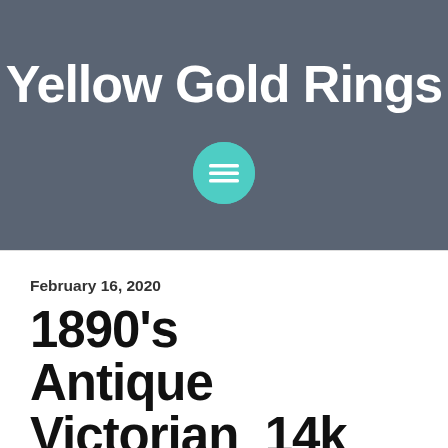Yellow Gold Rings
[Figure (other): Teal/turquoise circular menu button with three horizontal white lines (hamburger icon)]
February 16, 2020
1890's Antique Victorian 14k Yellow Gold Turquoise &